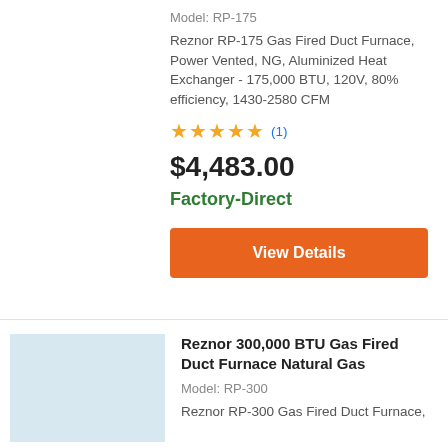Model: RP-175
Reznor RP-175 Gas Fired Duct Furnace, Power Vented, NG, Aluminized Heat Exchanger - 175,000 BTU, 120V, 80% efficiency, 1430-2580 CFM
[Figure (other): 5-star rating with 1 review]
$4,483.00
Factory-Direct
View Details
[Figure (photo): Product image placeholder (light blue)]
Reznor 300,000 BTU Gas Fired Duct Furnace Natural Gas
Model: RP-300
Reznor RP-300 Gas Fired Duct Furnace,